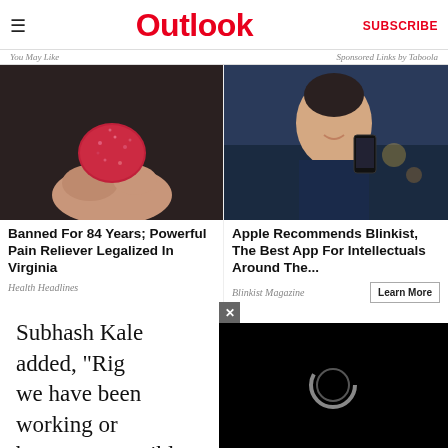Outlook
You May Like   Sponsored Links by Taboola
[Figure (photo): Close-up of a red gummy candy held between fingers against a dark background]
Banned For 84 Years; Powerful Pain Reliever Legalized In Virginia
Health Headlines
[Figure (photo): Smiling man holding a smartphone outdoors at dusk]
Apple Recommends Blinkist, The Best App For Intellectuals Around The...
Blinkist Magazine
[Figure (screenshot): Black video player overlay with a circular loading icon and a close (x) button]
Subhash Kale added, "Rig... we have been working on... best team possible for Ga... into all avenues, and I am...